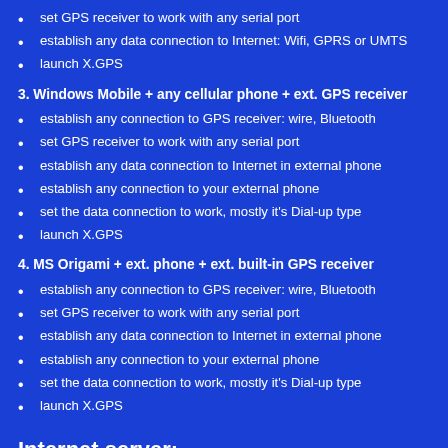set GPS receiver to work with any serial port
establish any data connection to Internet: Wifi, GPRS or UMTS
launch X.GPS
3. Windows Mobile + any cellular phone + ext. GPS receiver
establish any connection to GPS receiver: wire, Bluetooth
set GPS receiver to work with any serial port
establish any data connection to Internet in external phone
establish any connection to your external phone
set the data connection to work, mostly it's Dial-up type
launch X.GPS
4. MS Origami + ext. phone + ext. built-in GPS receiver
establish any connection to GPS receiver: wire, Bluetooth
set GPS receiver to work with any serial port
establish any data connection to Internet in external phone
establish any connection to your external phone
set the data connection to work, mostly it's Dial-up type
launch X.GPS
Internet server:
Each device sends geographic positions to the dedicated Internet server. This server collects (saves) positions and reply to each device with all kno server with popular PHP service, and only one small file which receives ar We provide you this file. The only thing you have to do: copy this file to yo